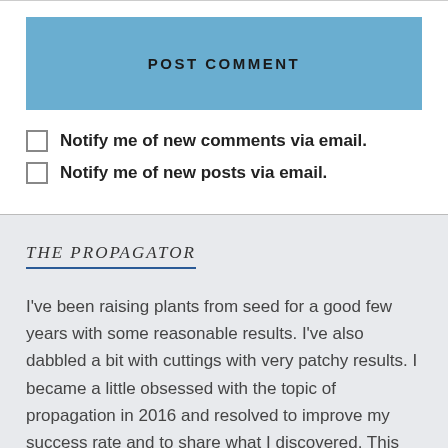POST COMMENT
Notify me of new comments via email.
Notify me of new posts via email.
THE PROPAGATOR
I've been raising plants from seed for a good few years with some reasonable results. I've also dabbled a bit with cuttings with very patchy results. I became a little obsessed with the topic of propagation in 2016 and resolved to improve my success rate and to share what I discovered. This blog is my assorted ramblings, progress, disasters, setbacks, results and some tips